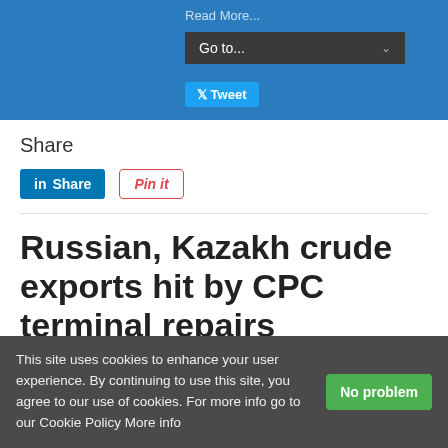Go to...
Share
[Figure (other): LinkedIn Share button and Pinterest Pin it button]
Russian, Kazakh crude exports hit by CPC terminal repairs
24/08/2022
Comments Off
on Russian, Kazakh crude exports hit by CPC terminal repairs
This site uses cookies to enhance your user experience. By continuing to use this site, you agree to our use of cookies. For more info go to our Cookie Policy More info